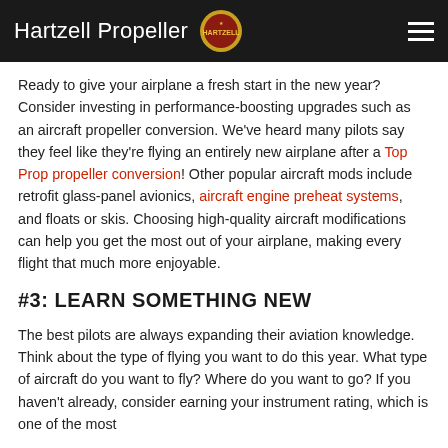Hartzell Propeller
Ready to give your airplane a fresh start in the new year? Consider investing in performance-boosting upgrades such as an aircraft propeller conversion. We've heard many pilots say they feel like they're flying an entirely new airplane after a Top Prop propeller conversion! Other popular aircraft mods include retrofit glass-panel avionics, aircraft engine preheat systems, and floats or skis. Choosing high-quality aircraft modifications can help you get the most out of your airplane, making every flight that much more enjoyable.
#3: LEARN SOMETHING NEW
The best pilots are always expanding their aviation knowledge. Think about the type of flying you want to do this year. What type of aircraft do you want to fly? Where do you want to go? If you haven't already, consider earning your instrument rating, which is one of the most